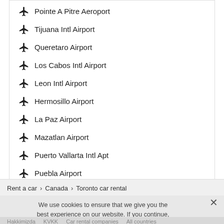Pointe A Pitre Aeroport
Tijuana Intl Airport
Queretaro Airport
Los Cabos Intl Airport
Leon Intl Airport
Hermosillo Airport
La Paz Airport
Mazatlan Airport
Puerto Vallarta Intl Apt
Puebla Airport
Rent a car > Canada > Toronto car rental
We use cookies to ensure that we give you the best experience on our website. If you continue, you agree with our cookie policy
Hakkimizda   KVKK   Car rental companies   All countries